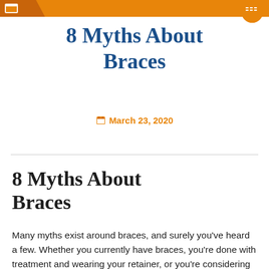8 Myths About Braces
March 23, 2020
8 Myths About Braces
Many myths exist around braces, and surely you've heard a few. Whether you currently have braces, you're done with treatment and wearing your retainer, or you're considering orthodontic treatment, you've probably heard some myths: